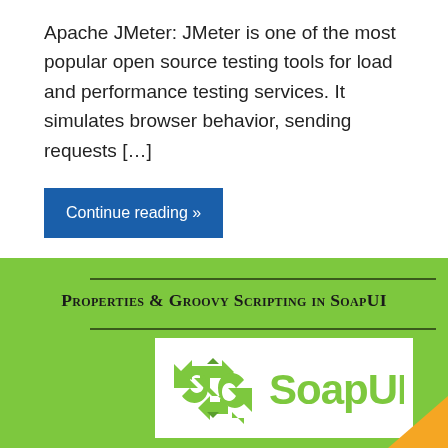Apache JMeter: JMeter is one of the most popular open source testing tools for load and performance testing services. It simulates browser behavior, sending requests [...]
Continue reading »
[Figure (illustration): Green banner section with title 'Properties & Groovy Scripting in SoapUI' with horizontal dividers above and below the title, followed by the SoapUI logo (green S arrow icon and SoapUI text in green on white background), and a partial orange triangle/arrow in the bottom-right corner.]